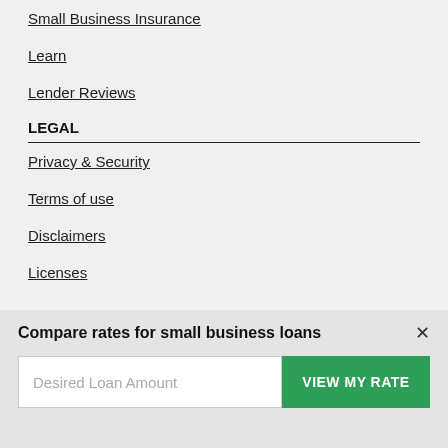Small Business Insurance
Learn
Lender Reviews
LEGAL
Privacy & Security
Terms of use
Disclaimers
Licenses
Compare rates for small business loans
Desired Loan Amount
VIEW MY RATE